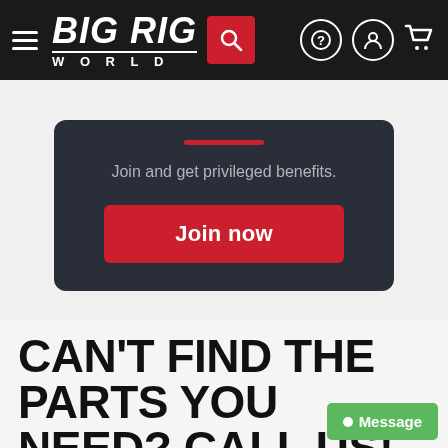[Figure (screenshot): Big Rig World website navigation bar with hamburger menu, logo, red search button, and icons for help, account, and cart]
Join and get privileged benefits.
Join now
CAN'T FIND THE PARTS YOU NEED? CALL US!
We carry thousands of OEM and
Message